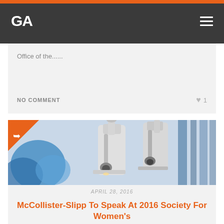GA
Office of the......
NO COMMENT  ♥ 1
[Figure (photo): Close-up photograph of a laboratory microscope with blue lab materials visible in the background. An orange triangle with a share arrow icon overlays the top-left corner.]
APRIL 28, 2016
McCollister-Slipp To Speak At 2016 Society For Women's